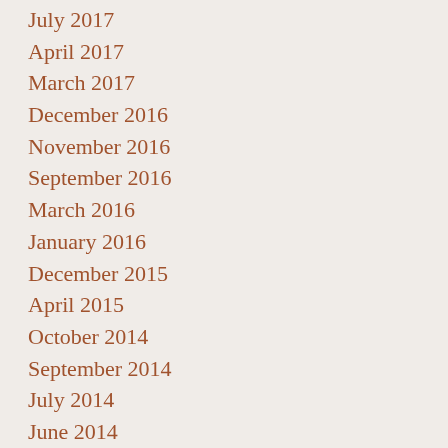July 2017
April 2017
March 2017
December 2016
November 2016
September 2016
March 2016
January 2016
December 2015
April 2015
October 2014
September 2014
July 2014
June 2014
May 2014
March 2014
February 2014
January 2014
November 2013